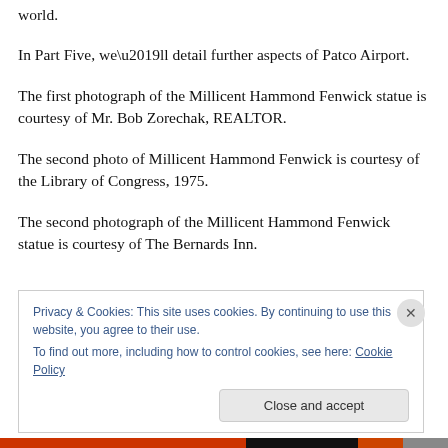world.
In Part Five, we’ll detail further aspects of Patco Airport.
The first photograph of the Millicent Hammond Fenwick statue is courtesy of Mr. Bob Zorechak, REALTOR.
The second photo of Millicent Hammond Fenwick is courtesy of the Library of Congress, 1975.
The second photograph of the Millicent Hammond Fenwick statue is courtesy of The Bernards Inn.
Privacy & Cookies: This site uses cookies. By continuing to use this website, you agree to their use.
To find out more, including how to control cookies, see here: Cookie Policy
Close and accept